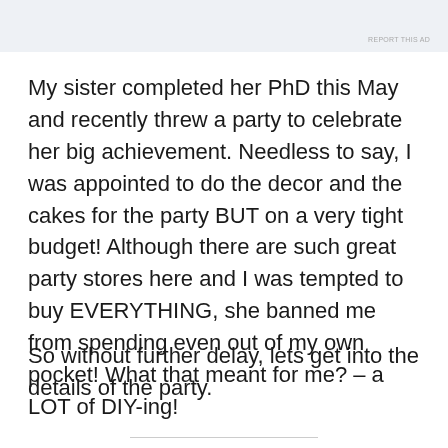REPORT THIS AD
My sister completed her PhD this May and recently threw a party to celebrate her big achievement. Needless to say, I was appointed to do the decor and the cakes for the party BUT on a very tight budget! Although there are such great party stores here and I was tempted to buy EVERYTHING, she banned me from spending even out of my own pocket! What that meant for me? – a LOT of DIY-ing!
So without further delay, lets get into the details of the party.